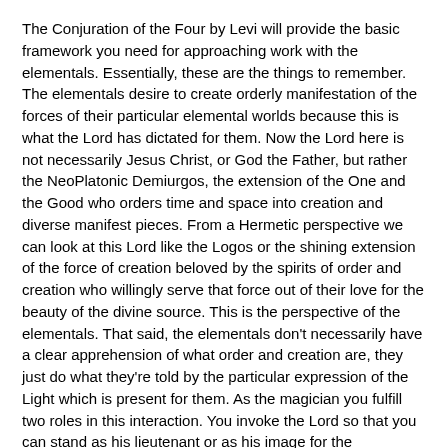The Conjuration of the Four by Levi will provide the basic framework you need for approaching work with the elementals. Essentially, these are the things to remember. The elementals desire to create orderly manifestation of the forces of their particular elemental worlds because this is what the Lord has dictated for them. Now the Lord here is not necessarily Jesus Christ, or God the Father, but rather the NeoPlatonic Demiurgos, the extension of the One and the Good who orders time and space into creation and diverse manifest pieces. From a Hermetic perspective we can look at this Lord like the Logos or the shining extension of the force of creation beloved by the spirits of order and creation who willingly serve that force out of their love for the beauty of the divine source. This is the perspective of the elementals. That said, the elementals don't necessarily have a clear apprehension of what order and creation are, they just do what they're told by the particular expression of the Light which is present for them. As the magician you fulfill two roles in this interaction. You invoke the Lord so that you can stand as his lieutenant or as his image for the elementals to gather around you and do service for you, and simultaneously you worship the Lord while standing in the perspective of the elementals so that they rejoice at your unity with them and they feel bonded to helping you.
What does it mean to stand with them? LITERALLY STAND WITH THEM. So if you're calling the sylphs you don't stand in the west and look east and call them from the east like you would a spirit who comes from the